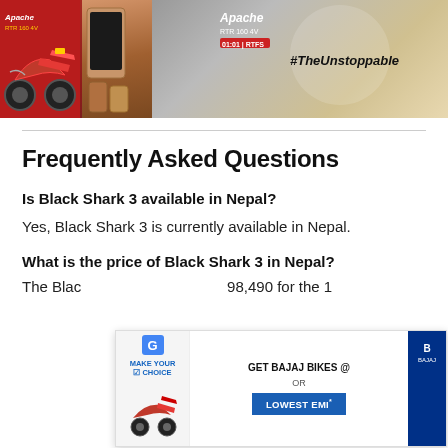[Figure (photo): Website banner advertisement showing Apache RTR 160 motorcycle with #TheUnstoppable tagline and smartphone product images]
Frequently Asked Questions
Is Black Shark 3 available in Nepal?
Yes, Black Shark 3 is currently available in Nepal.
What is the price of Black Shark 3 in Nepal?
The Black [Shark 3 price in Nepal is Rs.] 98,490 for the 1[2GB RAM variant]
[Figure (photo): Bajaj bikes advertisement overlay popup showing 'MAKE YOUR CHOICE', 'GET BAJAJ BIKES @', 'OR', 'LOWEST EMI*' with motorcycle image]